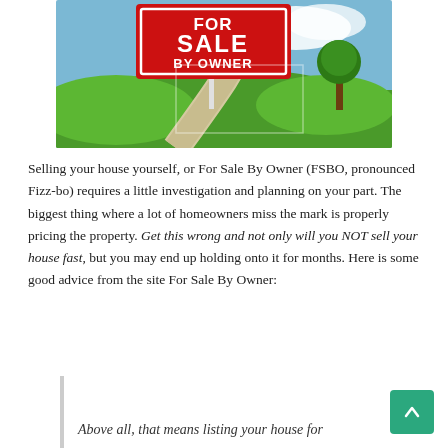[Figure (photo): A 'For Sale By Owner' real estate sign in red and white, with a green lawn, winding path, blue sky, and tree in the background]
Selling your house yourself, or For Sale By Owner (FSBO, pronounced Fizz-bo) requires a little investigation and planning on your part. The biggest thing where a lot of homeowners miss the mark is properly pricing the property. Get this wrong and not only will you NOT sell your house fast, but you may end up holding onto it for months. Here is some good advice from the site For Sale By Owner:
Above all, that means listing your house for